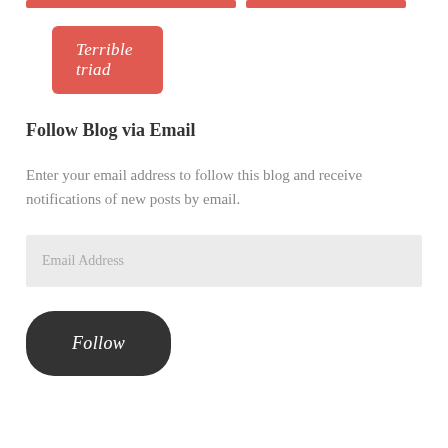[Figure (other): Red button labeled 'Terrible triad' at top of page, along with two partial red buttons visible at the very top edge]
Follow Blog via Email
Enter your email address to follow this blog and receive notifications of new posts by email.
Email Address
[Figure (other): Dark rounded button labeled 'Follow' in italic white text]